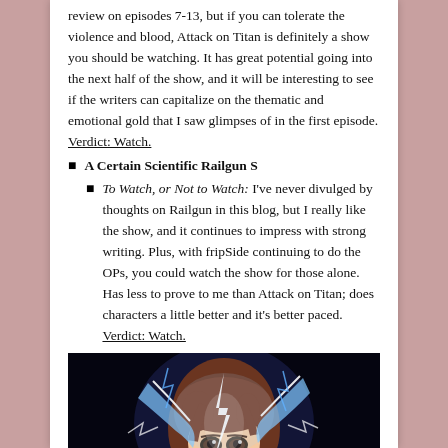review on episodes 7-13, but if you can tolerate the violence and blood, Attack on Titan is definitely a show you should be watching. It has great potential going into the next half of the show, and it will be interesting to see if the writers can capitalize on the thematic and emotional gold that I saw glimpses of in the first episode. Verdict: Watch.
A Certain Scientific Railgun S
To Watch, or Not to Watch: I've never divulged by thoughts on Railgun in this blog, but I really like the show, and it continues to impress with strong writing. Plus, with fripSide continuing to do the OPs, you could watch the show for those alone. Has less to prove to me than Attack on Titan; does characters a little better and it's better paced. Verdict: Watch.
[Figure (illustration): Anime character (girl with brown hair) with blue/white lightning effects against a dark background, from A Certain Scientific Railgun S]